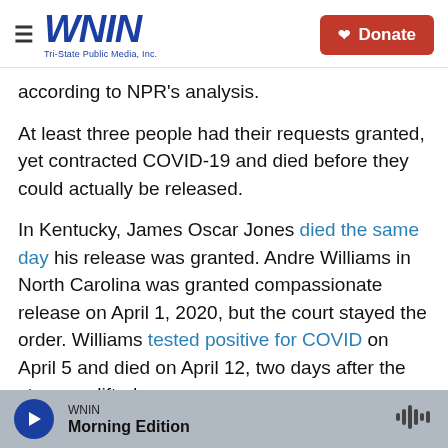WNIN Tri-State Public Media, Inc. | Donate
according to NPR's analysis.
At least three people had their requests granted, yet contracted COVID-19 and died before they could actually be released.
In Kentucky, James Oscar Jones died the same day his release was granted. Andre Williams in North Carolina was granted compassionate release on April 1, 2020, but the court stayed the order. Williams tested positive for COVID on April 5 and died on April 12, two days after the stay was lifted.
WNIN — Morning Edition